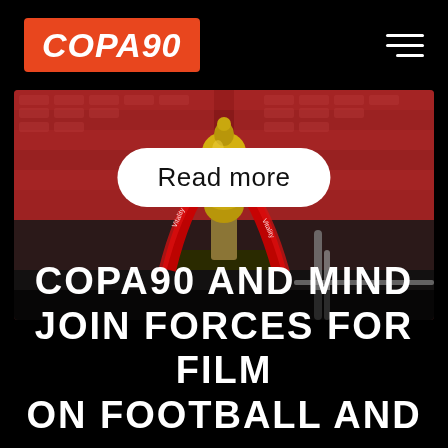COPA90 (logo) with hamburger menu
[Figure (photo): Close-up photo of a football trophy (Vitality-branded) with red ribbons, set against a blurred red stadium seating background at what appears to be Wembley Stadium. A 'Read more' button overlays the top portion of the image.]
COPA90 AND MIND JOIN FORCES FOR FILM ON FOOTBALL AND